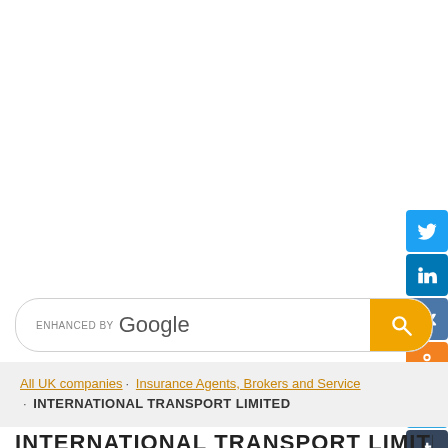[Figure (other): Social media share buttons sidebar: Twitter (blue), LinkedIn (dark blue), VK (blue), OK (orange), Telegram (light blue), Tumblr (dark grey)]
ENHANCED BY Google [search button]
All UK companies · Insurance Agents, Brokers and Service · INTERNATIONAL TRANSPORT LIMITED
INTERNATIONAL TRANSPORT LIMITED